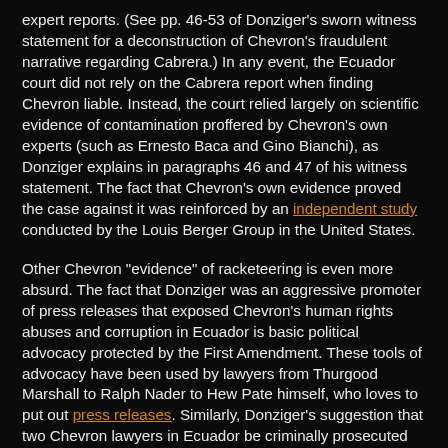expert reports. (See pp. 46-53 of Donziger's sworn witness statement for a deconstruction of Chevron's fraudulent narrative regarding Cabrera.) In any event, the Ecuador court did not rely on the Cabrera report when finding Chevron liable. Instead, the court relied largely on scientific evidence of contamination proffered by Chevron's own experts (such as Ernesto Baca and Gino Bianchi), as Donziger explains in paragraphs 46 and 47 of his witness statement. The fact that Chevron's own evidence proved the case against it was reinforced by an independent study conducted by the Louis Berger Group in the United States.
Other Chevron "evidence" of racketeering is even more absurd. The fact that Donziger was an aggressive promoter of press releases that exposed Chevron's human rights abuses and corruption in Ecuador is basic political advocacy protected by the First Amendment. These tools of advocacy have been used by lawyers from Thurgood Marshall to Ralph Nader to Hew Pate himself, who loves to put out press releases. Similarly, Donziger's suggestion that two Chevron lawyers in Ecuador be criminally prosecuted for engaging in a sham remediation was entirely proper. Click here to read